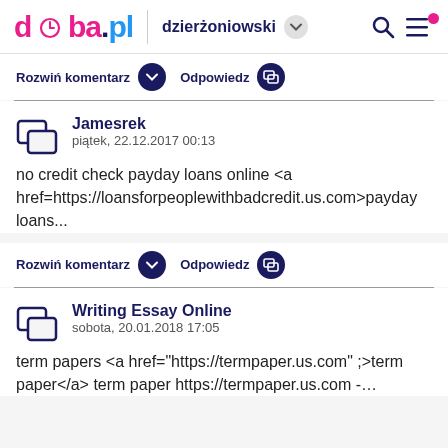doba.pl dzierżoniowski
Rozwiń komentarz  Odpowiedz
Jamesrek
piątek, 22.12.2017 00:13

no credit check payday loans online <a href=https://loansforpeoplewithbadcredit.us.com>payday loans...
Rozwiń komentarz  Odpowiedz
Writing Essay Online
sobota, 20.01.2018 17:05

term papers <a href="https://termpaper.us.com" ;>term paper</a> term paper https://termpaper.us.com -...